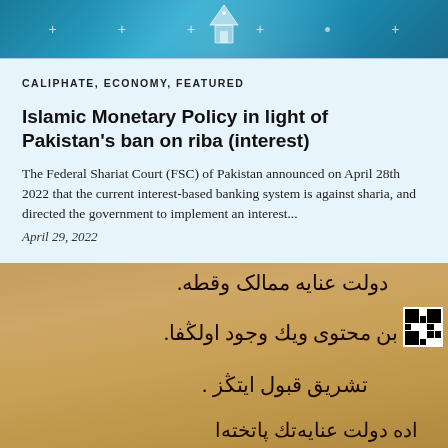[Figure (illustration): Banner with teal/blue gradient background, decorative plus signs and dots, and a faint building/mosque silhouette icon in the center]
CALIPHATE, ECONOMY, FEATURED
Islamic Monetary Policy in light of Pakistan's ban on riba (interest)
The Federal Shariat Court (FSC) of Pakistan announced on April 28th 2022 that the current interest-based banking system is against sharia, and directed the government to implement an interest...
April 29, 2022
[Figure (photo): Old manuscript or document with Arabic script handwritten text on aged yellowish-brown paper, with a QR code visible on the right side]